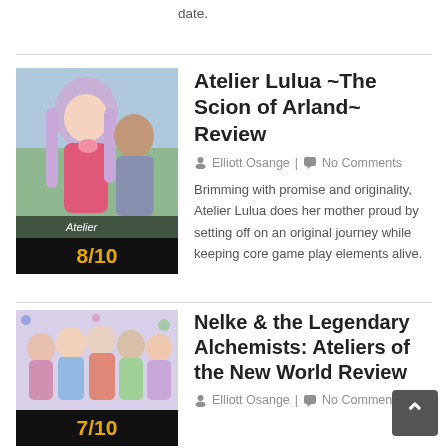date.
[Figure (photo): Atelier Lulua game cover art showing anime girl character with light purple hair, score 8/10]
Atelier Lulua ~The Scion of Arland~ Review
Elliott Osange | No Comments
Brimming with promise and originality, Atelier Lulua does her mother proud by setting off on an original journey while keeping core game play elements alive.
[Figure (photo): Nelke & the Legendary Alchemists game cover art showing multiple anime characters, score 7/10]
Nelke & the Legendary Alchemists: Ateliers of the New World Review
Elliott Osange | No Comments